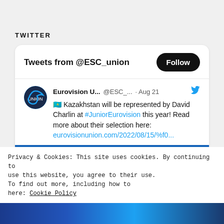TWITTER
[Figure (screenshot): Twitter embed widget showing tweets from @ESC_union with a Follow button. Contains a tweet from Eurovision U... (@ESC_...) dated Aug 21 with a Kazakhstan flag emoji stating 'Kazakhstan will be represented by David Charlin at #JuniorEurovision this year! Read more about their selection here: eurovisionunion.com/2022/08/15/%f0...' with a partial image of a performer on a blue-lit stage.]
Privacy & Cookies: This site uses cookies. By continuing to use this website, you agree to their use. To find out more, including how to control cookies, see here: Cookie Policy
Close and accept
[Figure (photo): Bottom strip showing a partial blue-toned performance photo]